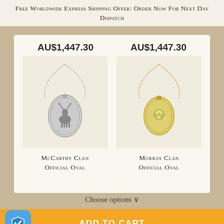Free Worldwide Express Shipping Offer: Order Now For Next Day Dispatch
AU$1,447.30
AU$1,447.30
[Figure (photo): Silver oval pendant necklace with stag engraving (McCarthy Clan)]
[Figure (photo): Gold oval pendant necklace with floral engraving (Murray Clan)]
McCarthy Clan Official Oval
Murray Clan Official Oval
Choose options ∨
ADD TO CART